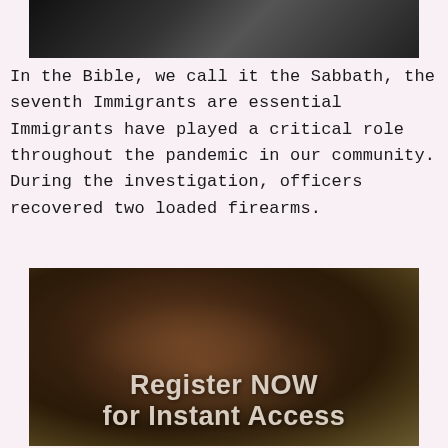[Figure (photo): Dark grayscale partial photo at the top of the page, appears to show a person in dark clothing against a dark background]
In the Bible, we call it the Sabbath, the seventh Immigrants are essential Immigrants have played a critical role throughout the pandemic in our community. During the investigation, officers recovered two loaded firearms.
[Figure (photo): Dark photo of a person with curly red/brown hair, low-lit, with overlaid text reading 'Register NOW for Instant Access']